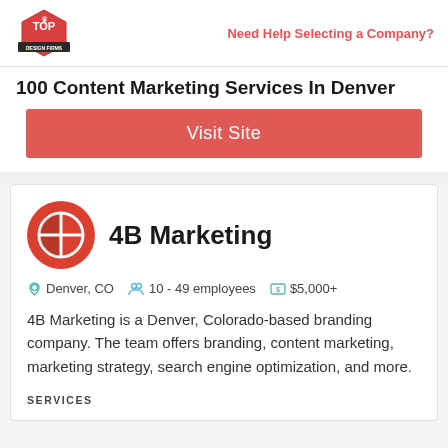Top Design Firms | Need Help Selecting a Company?
100 Content Marketing Services In Denver
[Figure (other): Visit Site button - red/coral colored call-to-action button]
4B Marketing
Denver, CO   10 - 49 employees   $5,000+
4B Marketing is a Denver, Colorado-based branding company. The team offers branding, content marketing, marketing strategy, search engine optimization, and more.
SERVICES